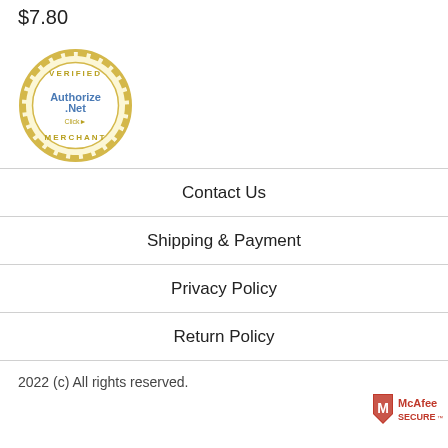$7.80
[Figure (logo): Authorize.Net Verified Merchant seal - gold circular badge with 'VERIFIED' at top, 'Authorize.Net' in blue in center, 'Click' below, 'MERCHANT' at bottom]
Contact Us
Shipping & Payment
Privacy Policy
Return Policy
2022 (c) All rights reserved.
[Figure (logo): McAfee SECURE badge - red shield with white M logo and 'McAfee SECURE' text in red]